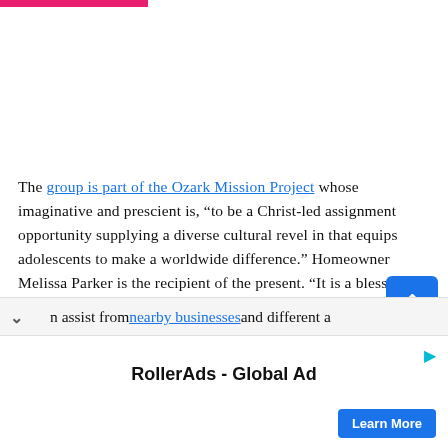The group is part of the Ozark Mission Project whose imaginative and prescient is, “to be a Christ-led assignment opportunity supplying a diverse cultural revel in that equips adolescents to make a worldwide difference.” Homeowner Melissa Parker is the recipient of the present. “It is a blessing from God and they are incredible examples of Christ’s love,” stated Parker. “It’s simply first-rate.”
n assist from nearby businesses and different a
RollerAds - Global Ad